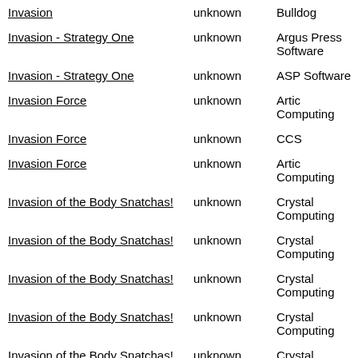| Title | Year | Publisher |
| --- | --- | --- |
| Invasion | unknown | Bulldog |
| Invasion - Strategy One | unknown | Argus Press Software |
| Invasion - Strategy One | unknown | ASP Software |
| Invasion Force | unknown | Artic Computing |
| Invasion Force | unknown | CCS |
| Invasion Force | unknown | Artic Computing |
| Invasion of the Body Snatchas! | unknown | Crystal Computing |
| Invasion of the Body Snatchas! | unknown | Crystal Computing |
| Invasion of the Body Snatchas! | unknown | Crystal Computing |
| Invasion of the Body Snatchas! | unknown | Crystal Computing |
| Invasion of the Body Snatchas! | unknown | Crystal Computing |
| Invasion of the Body... | unknown | Crystal... |